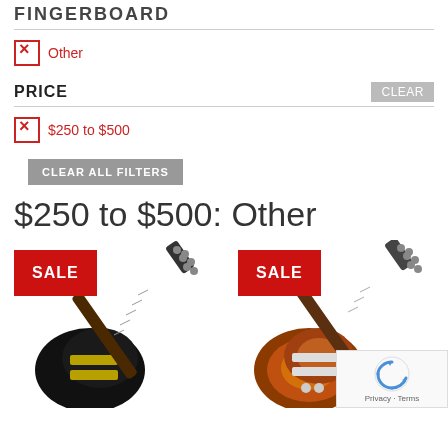FINGERBOARD
Other
PRICE
$250 to $500
CLEAR ALL FILTERS
$250 to $500: Other
[Figure (photo): Two electric guitars (Les Paul style) with red SALE badges. Left guitar is black, right guitar is sunburst/brownish. Partially cropped reCAPTCHA overlay in bottom right corner.]